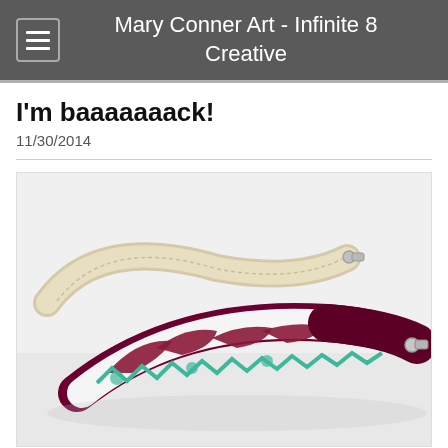Mary Conner Art - Infinite 8 Creative
I'm baaaaaaack!
11/30/2014
[Figure (photo): Two fabric bracelets photographed on a white background. One bracelet is made of cream/beige fabric with white accents and a silver clasp. The other bracelet features a colorful African-print fabric with maroon, teal/mint, and white patterns, plus a deep maroon/burgundy solid fabric band, with a silver clasp.]